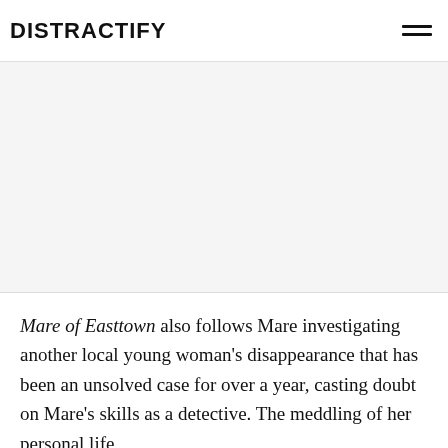DISTRACTIFY
[Figure (other): Advertisement placeholder area, light gray background]
Mare of Easttown also follows Mare investigating another local young woman's disappearance that has been an unsolved case for over a year, casting doubt on Mare's skills as a detective. The meddling of her personal life...